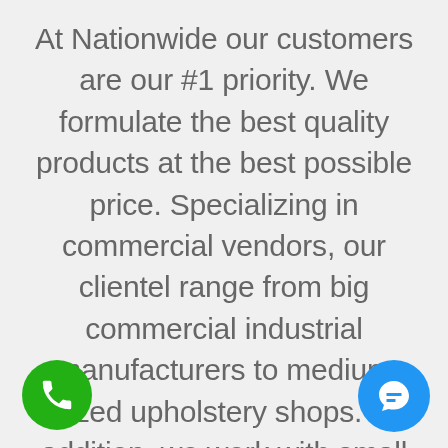At Nationwide our customers are our #1 priority. We formulate the best quality products at the best possible price. Specializing in commercial vendors, our clientel range from big commercial industrial manufacturers to medium sized upholstery shops. In addition, we work with small embroidery crafters. Our goal and mission of our marine upholstery division is to satisfy our vendor his way, they can deliver the b possible experiences to their